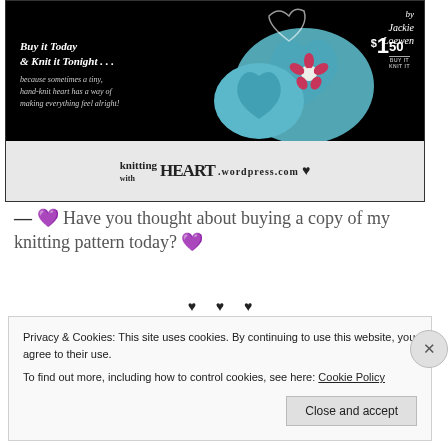[Figure (illustration): Advertisement for 'knitting with HEART' knitting pattern. Black background with blue knitted hearts with a pink flower, italic text 'Buy it Today & Knit it Tonight... because sometimes a tiny, hand-knit heart has a way of making everything feel alright!', price $1.50, by Jackie Loewen. Bottom grey strip with 'knitting with HEART.wordpress.com' and black heart symbol. Copyright notice: Copyright 2013 by Jackie Loewen. All Rights Reserved.]
— 💜 Have you thought about buying a copy of my knitting pattern today? 💜
♥ ♥ ♥
Privacy & Cookies: This site uses cookies. By continuing to use this website, you agree to their use.
To find out more, including how to control cookies, see here: Cookie Policy